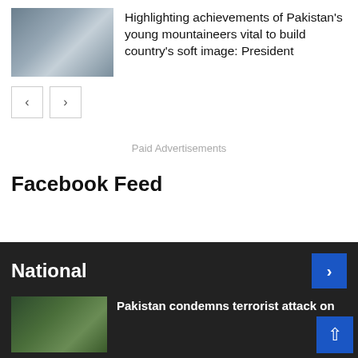[Figure (photo): Group of men in formal/business attire standing together indoors]
Highlighting achievements of Pakistan's young mountaineers vital to build country's soft image: President
< >
Paid Advertisements
Facebook Feed
National
[Figure (photo): Outdoor scene with trees and foliage]
Pakistan condemns terrorist attack on